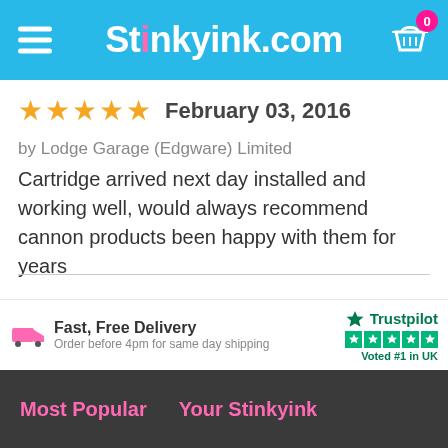Stinkyink.com
February 03, 2016
by Lodge Garage (Edgware) Limited
Cartridge arrived next day installed and working well, would always recommend cannon products been happy with them for years
Fast, Free Delivery
Order before 4pm for same day shipping
Trustpilot
Voted #1 in UK
Most Popular   Your Stinkyink